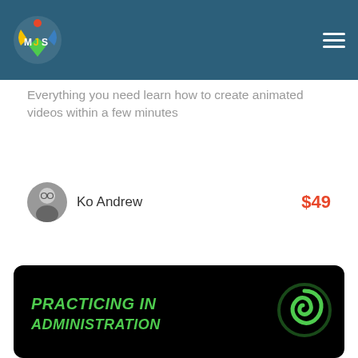[Figure (logo): MJS logo with red, yellow, blue, and green colors on teal header bar with hamburger menu on right]
Everything you need learn how to create animated videos within a few minutes
Ko Andrew
$49
[Figure (screenshot): Black card with green italic bold text 'PRACTICING IN ADMINISTRATION' and a green spiral/swirl logo on the right]